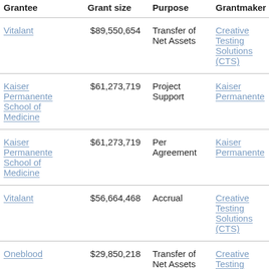| Grantee | Grant size | Purpose | Grantmaker |
| --- | --- | --- | --- |
| Vitalant | $89,550,654 | Transfer of Net Assets | Creative Testing Solutions (CTS) |
| Kaiser Permanente School of Medicine | $61,273,719 | Project Support | Kaiser Permanente |
| Kaiser Permanente School of Medicine | $61,273,719 | Per Agreement | Kaiser Permanente |
| Vitalant | $56,664,468 | Accrual | Creative Testing Solutions (CTS) |
| Oneblood | $29,850,218 | Transfer of Net Assets | Creative Testing |